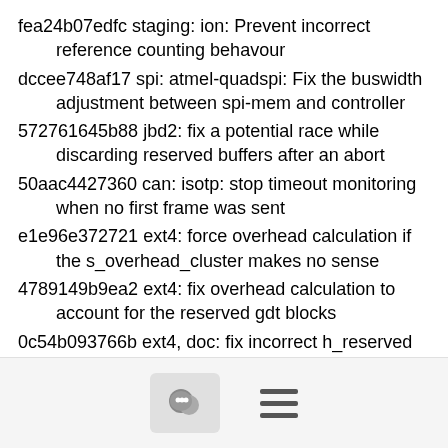fea24b07edfc staging: ion: Prevent incorrect reference counting behavour
dccee748af17 spi: atmel-quadspi: Fix the buswidth adjustment between spi-mem and controller
572761645b88 jbd2: fix a potential race while discarding reserved buffers after an abort
50aac4427360 can: isotp: stop timeout monitoring when no first frame was sent
e1e96e372721 ext4: force overhead calculation if the s_overhead_cluster makes no sense
4789149b9ea2 ext4: fix overhead calculation to account for the reserved gdt blocks
0c54b093766b ext4, doc: fix incorrect h_reserved size
22c450d39f89 ext4: limit length to bitmap_maxbytes - blocksize in punch_hole
75ac724684b7 ext4: fix use-after-free in ext4_search_dir
a46b3d849864 ext4: fix symlink file size not match to file content
f6038d43b25b ext4: fix fallocate to use file  modified to update